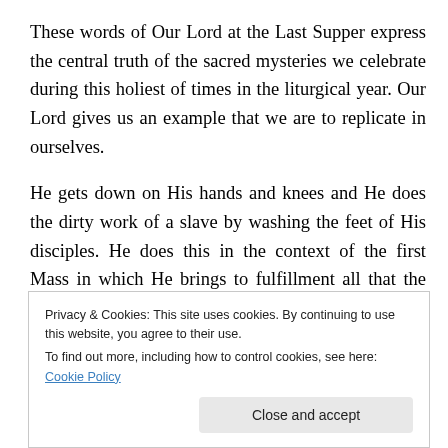These words of Our Lord at the Last Supper express the central truth of the sacred mysteries we celebrate during this holiest of times in the liturgical year. Our Lord gives us an example that we are to replicate in ourselves.
He gets down on His hands and knees and He does the dirty work of a slave by washing the feet of His disciples. He does this in the context of the first Mass in which He brings to fulfillment all that the Old Testament sacrifices represent, particularly the Passover sacrifice, which we hear about in the first reading. He is the Lamb that was
Privacy & Cookies: This site uses cookies. By continuing to use this website, you agree to their use.
To find out more, including how to control cookies, see here: Cookie Policy